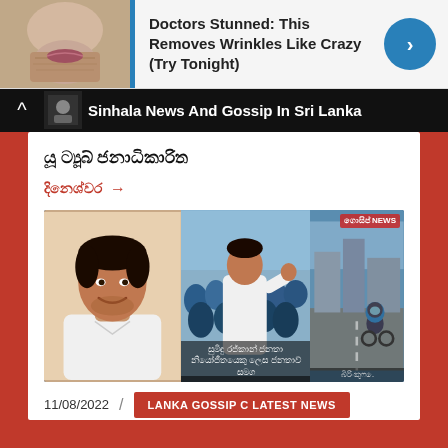[Figure (other): Advertisement banner with image of skin/face, blue stripe, text about wrinkles removal, and blue circular arrow button]
Sinhala News And Gossip In Sri Lanka
යූ ට්‍යූබ් ජනාධිකාරිත
දිනෙශ්වර →
[Figure (photo): Composite news image with three panels: left shows a smiling young man in white, middle shows a crowd scene with a person waving in white shirt with Sinhala caption, right shows a street scene with a person on a motorbike]
11/08/2022  /  LANKA GOSSIP C LATEST NEWS